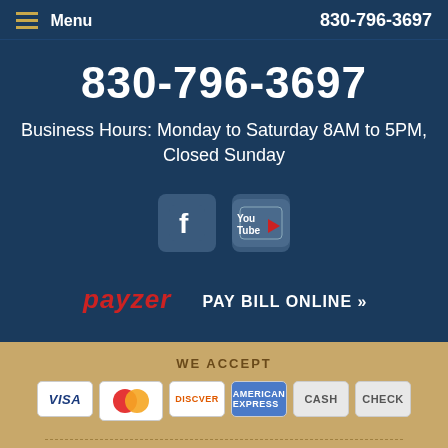Menu  830-796-3697
830-796-3697
Business Hours: Monday to Saturday 8AM to 5PM, Closed Sunday
[Figure (logo): Facebook and YouTube social media icons]
payzer  PAY BILL ONLINE »
WE ACCEPT
[Figure (infographic): Payment method icons: VISA, MasterCard, Discover, American Express, CASH, CHECK]
FINANCING AVAILABLE
[Figure (logo): Financing company logo]
CLICK TO START CHAT